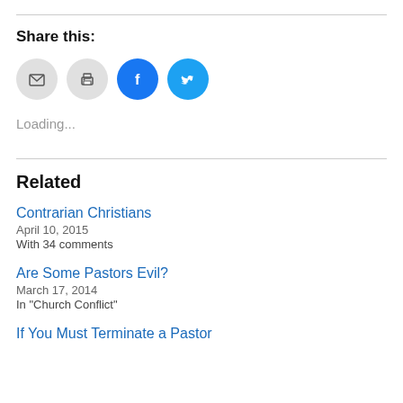Share this:
[Figure (illustration): Four social sharing icon buttons: email (grey), print (grey), Facebook (blue), Twitter (cyan)]
Loading...
Related
Contrarian Christians
April 10, 2015
With 34 comments
Are Some Pastors Evil?
March 17, 2014
In "Church Conflict"
If You Must Terminate a Pastor